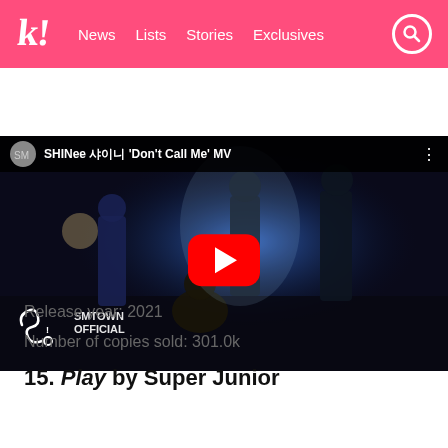koreaboo.com — News | Lists | Stories | Exclusives
[Figure (screenshot): YouTube video thumbnail for SHINee 샤이니 'Don't Call Me' MV by SMTOWN OFFICIAL, showing four male performers in dark clothing in a dramatic blue-lit industrial setting, with a red YouTube play button overlay.]
Release year: 2021
Number of copies sold: 301.0k
15. Play by Super Junior